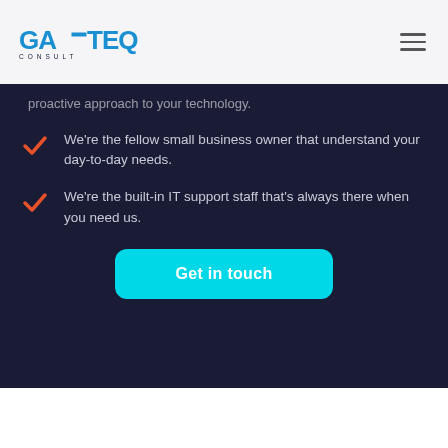[Figure (logo): GAFTEQ CONSULT logo in blue]
Our Commitment
proactive approach to your technology.
We're the fellow small business owner that understand your day-to-day needs.
We're the built-in IT support staff that's always there when you need us.
Get in touch